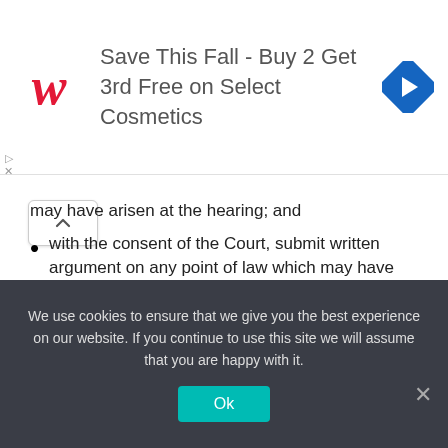[Figure (screenshot): Walgreens advertisement banner: 'Save This Fall - Buy 2 Get 3rd Free on Select Cosmetics' with Walgreens cursive W logo and blue navigation arrow icon]
may have arisen at the hearing; and
with the consent of the Court, submit written argument on any point of law which may have arisen at the hearing.
16. Procedure at hearing generally
Subject to the Act and these rules, the procedure at the hearing of any appeal shall be as informal as possible.
We use cookies to ensure that we give you the best experience on our website. If you continue to use this site we will assume that you are happy with it.